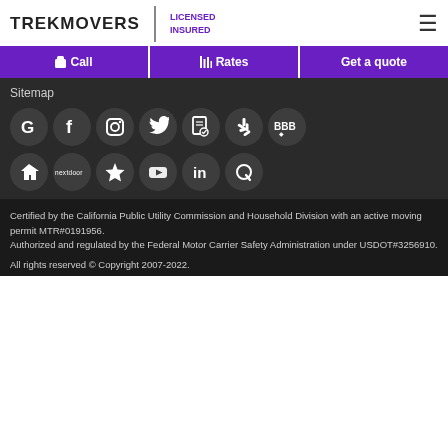TREKMOVERS | LICENSED INSURED
Call
Rates
Get a quote
Sitemap
[Figure (infographic): Two rows of social media / review platform icon circles: Row 1: Google, Facebook, Instagram, Twitter, certificate/award, Yelp, BBB. Row 2: HomeAdvisor, Nextdoor, Trustpilot star, YouTube, LinkedIn, Quora]
Certified by the California Public Utility Commission and Household Division with an active moving permit MTR#0191956.
Authorized and regulated by the Federal Motor Carrier Safety Administration under USDOT#3256910.
All rights reserved © Copyright 2007-2022.